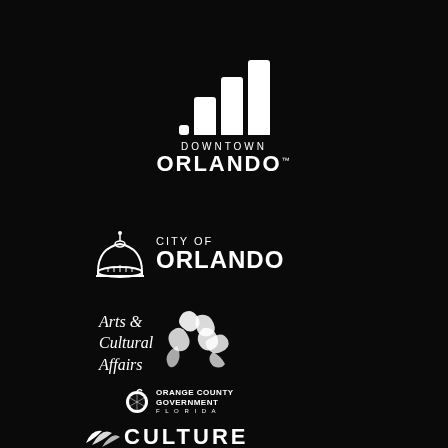[Figure (logo): Downtown Orlando logo with bar chart signal icon and text DOWNTOWN ORLANDO with trademark symbol]
[Figure (logo): City of Orlando logo with dome/fountain icon and text CITY OF ORLANDO]
[Figure (logo): Arts & Cultural Affairs logo with illustrated figures and italic serif text]
[Figure (logo): Orange County Government Florida logo with orange icon]
[Figure (logo): Culture Building logo with leaf/flower icon and CULTURE text (partially visible)]